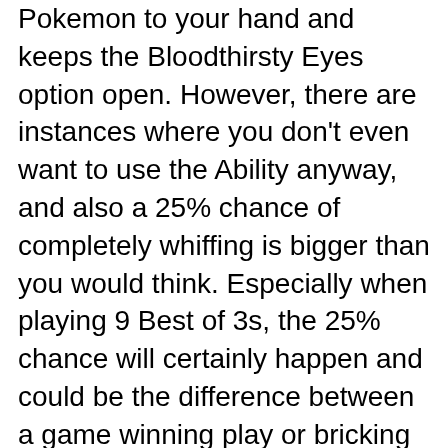Pokemon to your hand and keeps the Bloodthirsty Eyes option open. However, there are instances where you don't even want to use the Ability anyway, and also a 25% chance of completely whiffing is bigger than you would think. Especially when playing 9 Best of 3s, the 25% chance will certainly happen and could be the difference between a game winning play or bricking entirely.
The biggest issue with the deck is its